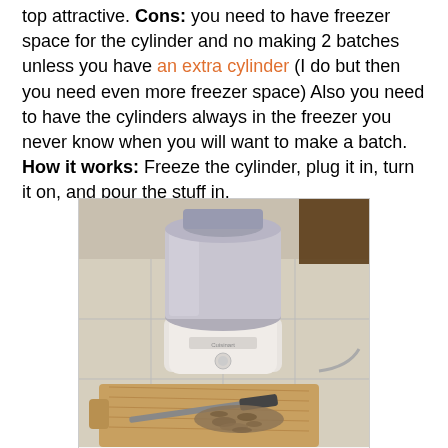top attractive. Cons: you need to have freezer space for the cylinder and no making 2 batches unless you have an extra cylinder (I do but then you need even more freezer space) Also you need to have the cylinders always in the freezer you never know when you will want to make a batch. How it works: Freeze the cylinder, plug it in, turn it on, and pour the stuff in.
[Figure (photo): A Cuisinart ice cream maker with a white base and grey translucent cylinder/bowl on top, sitting on a kitchen countertop with white tiles. In the foreground is a wooden cutting board with a knife and chopped ingredients.]